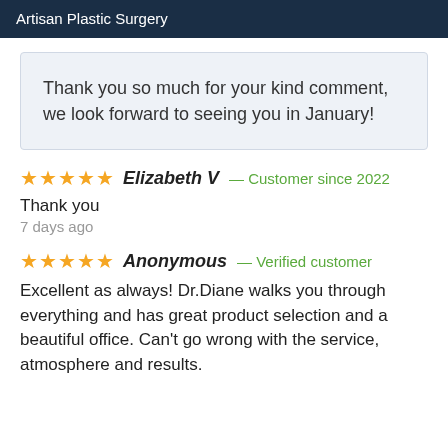Artisan Plastic Surgery
Thank you so much for your kind comment, we look forward to seeing you in January!
★★★★★ Elizabeth V — Customer since 2022
Thank you
7 days ago
★★★★★ Anonymous — Verified customer
Excellent as always! Dr.Diane walks you through everything and has great product selection and a beautiful office. Can't go wrong with the service, atmosphere and results.